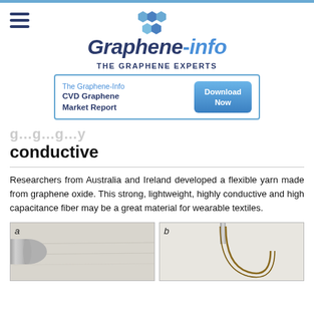Graphene-info — THE GRAPHENE EXPERTS
[Figure (screenshot): Ad banner for The Graphene-Info CVD Graphene Market Report with Download Now button]
…graphene…by conductive
Researchers from Australia and Ireland developed a flexible yarn made from graphene oxide. This strong, lightweight, highly conductive and high capacitance fiber may be a great material for wearable textiles.
[Figure (photo): Two panel photo (a) and (b) showing graphene yarn fiber experiments]